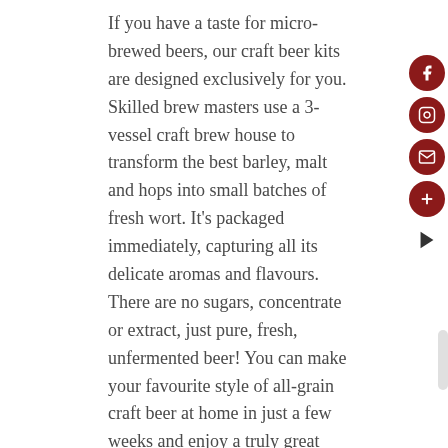If you have a taste for micro-brewed beers, our craft beer kits are designed exclusively for you. Skilled brew masters use a 3-vessel craft brew house to transform the best barley, malt and hops into small batches of fresh wort. It's packaged immediately, capturing all its delicate aromas and flavours. There are no sugars, concentrate or extract, just pure, fresh, unfermented beer! You can make your favourite style of all-grain craft beer at home in just a few weeks and enjoy a truly great beer with fresh and pure flavours and aromas.
Our guarantee
We guarantee all of the wines you make on premise. Our products are engineered to succeed and we